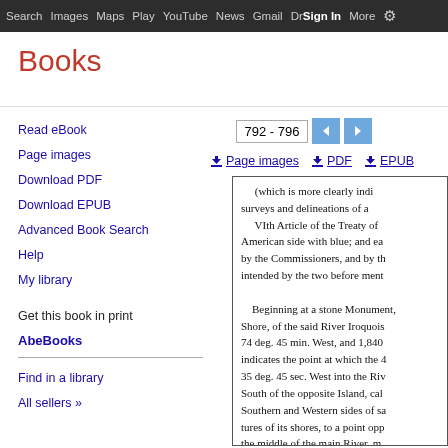Search  Images  Maps  Play  YouTube  News  Gmail  Drive  More  Sign in
Books
Read eBook
Page images
Download PDF
Download EPUB
Advanced Book Search
Help
My library
Get this book in print
AbeBooks
Find in a library
All sellers »
792 - 796
Page images  PDF  EPUB
(which is more clearly indi surveys and delineations of a VIth Article of the Treaty of American side with blue; and ea by the Commissioners, and by th intended by the two before ment

Beginning at a stone Monument, Shore, of the said River Iroquois 74 deg. 45 min. West, and 1,840 indicates the point at which the 4 35 deg. 45 sec. West into the Riv South of the opposite Island, cal Southern and Western sides of sa tures of its shores, to a point opp the middle of the main River, m